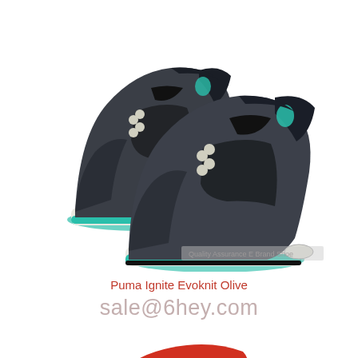[Figure (photo): Two dark gray/charcoal Air Jordan 4 sneakers with teal/green accents on the outsole and Jumpman logo, black laces, mesh panels, and white/cream wing eyelets. Shown from an angled perspective against white background. Watermark reads 'Quality Assurance E Brand Shoe'.]
Puma Ignite Evoknit Olive
sale@6hey.com
[Figure (photo): Partial view of a red sneaker at the bottom of the page.]